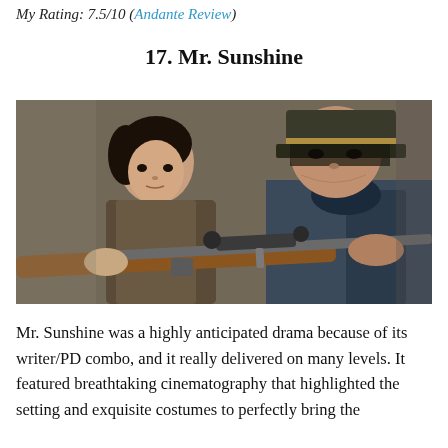My Rating: 7.5/10 (Andante Review)
17. Mr. Sunshine
[Figure (photo): A young woman and a man in military uniform aiming a rifle with a scope together, a dramatic scene from the Korean drama Mr. Sunshine.]
Mr. Sunshine was a highly anticipated drama because of its writer/PD combo, and it really delivered on many levels. It featured breathtaking cinematography that highlighted the setting and exquisite costumes to perfectly bring the